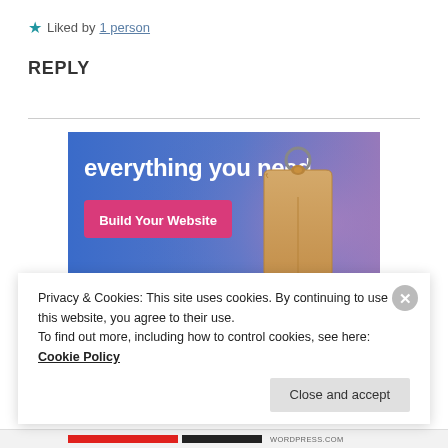★ Liked by 1 person
REPLY
[Figure (illustration): Advertisement banner with gradient blue-to-purple background, text 'everything you need.' in white, a pink 'Build Your Website' button, and a 3D luggage tag graphic on the right.]
Privacy & Cookies: This site uses cookies. By continuing to use this website, you agree to their use.
To find out more, including how to control cookies, see here: Cookie Policy
Close and accept